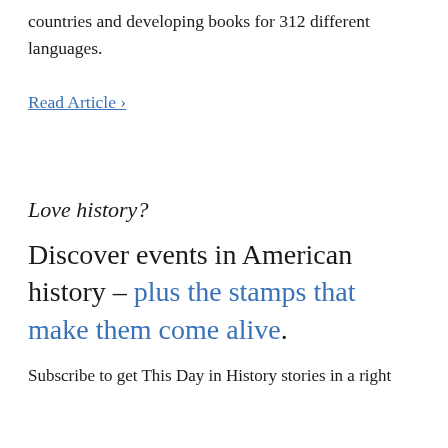countries and developing books for 312 different languages.
Read Article ›
Love history?
Discover events in American history – plus the stamps that make them come alive.
Subscribe to get This Day in History stories in a right...